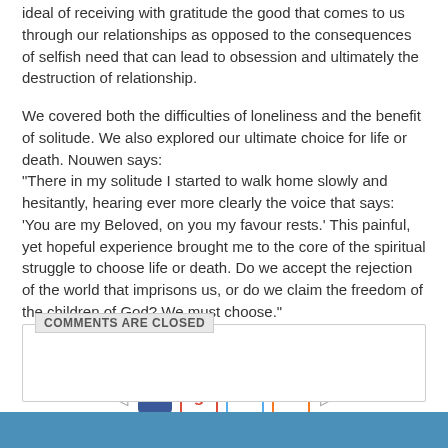ideal of receiving with gratitude the good that comes to us through our relationships as opposed to the consequences of selfish need that can lead to obsession and ultimately the destruction of relationship.
We covered both the difficulties of loneliness and the benefit of solitude. We also explored our ultimate choice for life or death. Nouwen says:
"There in my solitude I started to walk home slowly and hesitantly, hearing ever more clearly the voice that says: 'You are my Beloved, on you my favour rests.' This painful, yet hopeful experience brought me to the core of the spiritual struggle to choose life or death. Do we accept the rejection of the world that imprisons us, or do we claim the freedom of the children of God? We must choose."
Lent
[Figure (other): Social sharing icons: left navigation arrow, Facebook icon, Google+ icon, Twitter icon, Add/plus icon, right navigation arrow]
COMMENTS ARE CLOSED